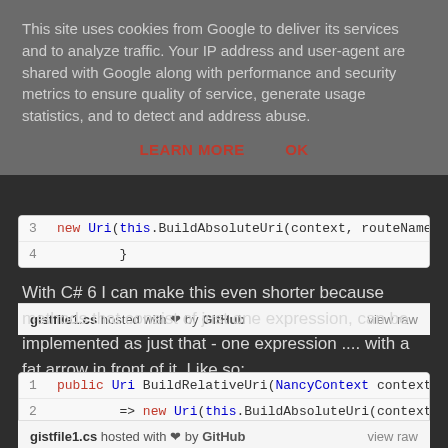This site uses cookies from Google to deliver its services and to analyze traffic. Your IP address and user-agent are shared with Google along with performance and security metrics to ensure quality of service, generate usage statistics, and to detect and address abuse.
LEARN MORE    OK
[Figure (screenshot): Code snippet lines 3-4: line 3: new Uri(this.BuildAbsoluteUri(context, routeName; line 4: }]
gistfile1.cs hosted with ❤ by GitHub    view raw
With C# 6 I can make this even shorter because methods that consist of just one expression, can be implemented as just that - one expression .... with a fat arrow in front of it. Like so:
[Figure (screenshot): Code snippet lines 1-2: line 1: public Uri BuildRelativeUri(NancyContext context, line 2: => new Uri(this.BuildAbsoluteUri(context, routeN]
gistfile1.cs hosted with ❤ by GitHub    view raw